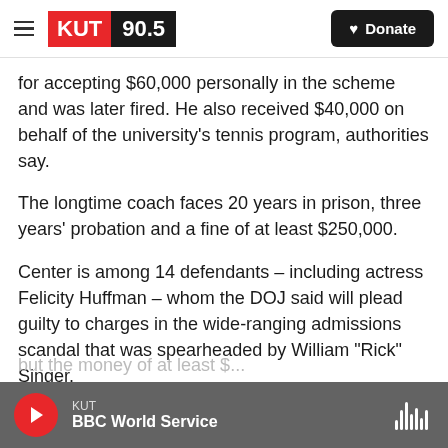KUT 90.5 | Donate
for accepting $60,000 personally in the scheme and was later fired. He also received $40,000 on behalf of the university's tennis program, authorities say.
The longtime coach faces 20 years in prison, three years' probation and a fine of at least $250,000.
Center is among 14 defendants – including actress Felicity Huffman – whom the DOJ said will plead guilty to charges in the wide-ranging admissions scandal that was spearheaded by William "Rick" Singer.
KUT | BBC World Service